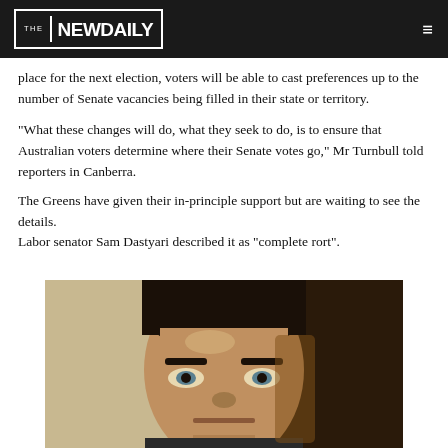THE NEW DAILY
place for the next election, voters will be able to cast preferences up to the number of Senate vacancies being filled in their state or territory.
“What these changes will do, what they seek to do, is to ensure that Australian voters determine where their Senate votes go,” Mr Turnbull told reporters in Canberra.
The Greens have given their in-principle support but are waiting to see the details.
Labor senator Sam Dastyari described it as “complete rort”.
[Figure (photo): Close-up photograph of a man with dark hair looking upward, photographed in a dark indoor setting.]